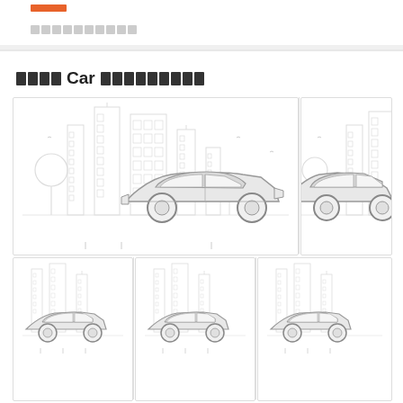□□□□□□□□□□
□□□□ Car □□□□□□□□□
[Figure (illustration): Grid of car listing illustrations showing sedan cars with city skyline backgrounds. Top row: one large card with a sedan car and city background, one partial card. Bottom row: three smaller car cards each showing a sedan.]